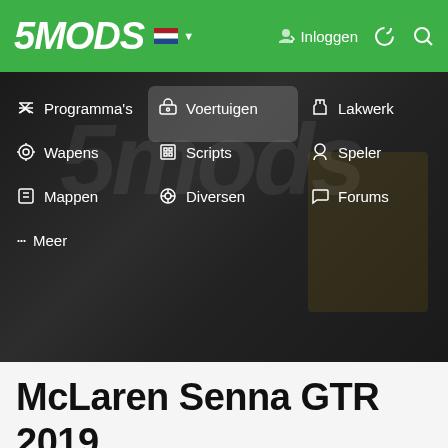5MODS — Inloggen navigation header with logo, flag, login, and icons
[Figure (screenshot): Website navigation menu showing three columns: left column with Programma's, Wapens, Mappen, Meer; middle column with Voertuigen (highlighted), Scripts, Diversen; right column with Lakwerk, Speler, Forums. Dark blurred background with green header bar.]
McLaren Senna GTR 2019 [Add-On | Dials] 2.0